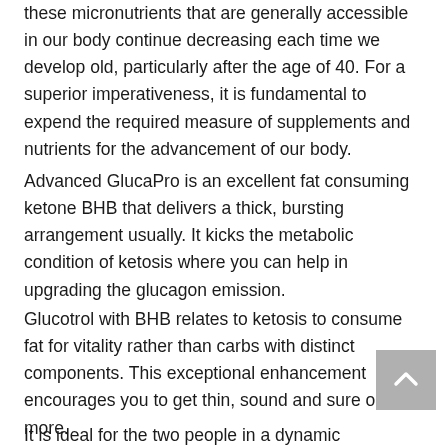these micronutrients that are generally accessible in our body continue decreasing each time we develop old, particularly after the age of 40. For a superior imperativeness, it is fundamental to expend the required measure of supplements and nutrients for the advancement of our body.
Advanced GlucaPro is an excellent fat consuming ketone BHB that delivers a thick, bursting arrangement usually. It kicks the metabolic condition of ketosis where you can help in upgrading the glucagon emission.
Glucotrol with BHB relates to ketosis to consume fat for vitality rather than carbs with distinct components. This exceptional enhancement encourages you to get thin, sound and sure once more.
It is ideal for the two people in a dynamic and fantastic